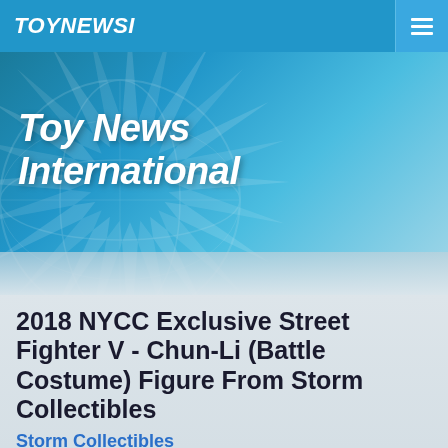TOYNEWSI
[Figure (illustration): Toy News International website banner with sunburst rays and globe watermark on teal/blue gradient background, with 'Toy News International' text in white italic bold font]
2018 NYCC Exclusive Street Fighter V - Chun-Li (Battle Costume) Figure From Storm Collectibles
Storm Collectibles